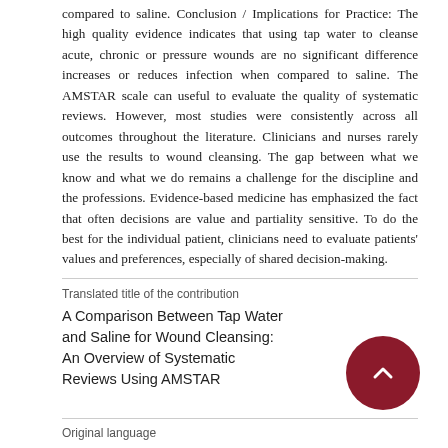compared to saline. Conclusion / Implications for Practice: The high quality evidence indicates that using tap water to cleanse acute, chronic or pressure wounds are no significant difference increases or reduces infection when compared to saline. The AMSTAR scale can useful to evaluate the quality of systematic reviews. However, most studies were consistently across all outcomes throughout the literature. Clinicians and nurses rarely use the results to wound cleansing. The gap between what we know and what we do remains a challenge for the discipline and the professions. Evidence-based medicine has emphasized the fact that often decisions are value and partiality sensitive. To do the best for the individual patient, clinicians need to evaluate patients' values and preferences, especially of shared decision-making.
Translated title of the contribution
A Comparison Between Tap Water and Saline for Wound Cleansing: An Overview of Systematic Reviews Using AMSTAR
Original language